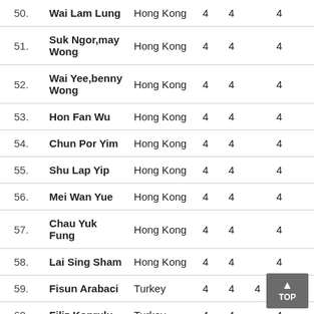| # | Name | Country | Col1 | Col2 | Col3 |
| --- | --- | --- | --- | --- | --- |
| 50. | Wai Lam Lung | Hong Kong | 4 | 4 | 4 |
| 51. | Suk Ngor,may Wong | Hong Kong | 4 | 4 | 4 |
| 52. | Wai Yee,benny Wong | Hong Kong | 4 | 4 | 4 |
| 53. | Hon Fan Wu | Hong Kong | 4 | 4 | 4 |
| 54. | Chun Por Yim | Hong Kong | 4 | 4 | 4 |
| 55. | Shu Lap Yip | Hong Kong | 4 | 4 | 4 |
| 56. | Mei Wan Yue | Hong Kong | 4 | 4 | 4 |
| 57. | Chau Yuk Fung | Hong Kong | 4 | 4 | 4 |
| 58. | Lai Sing Sham | Hong Kong | 4 | 4 | 4 |
| 59. | Fisun Arabaci | Turkey | 4 | 4 | 4 |
| 60. | Filiz Koprulu | Turkey | 4 | 4 | 4 |